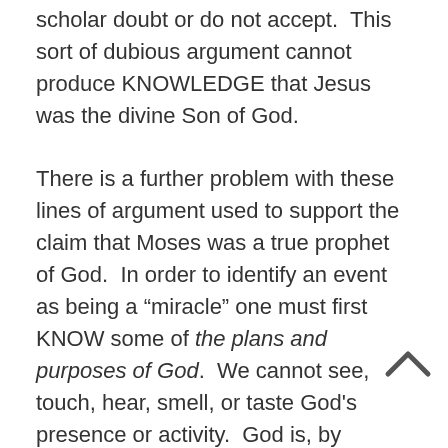scholar doubt or do not accept.  This sort of dubious argument cannot produce KNOWLEDGE that Jesus was the divine Son of God.
There is a further problem with these lines of argument used to support the claim that Moses was a true prophet of God.  In order to identify an event as being a “miracle” one must first KNOW some of the plans and purposes of God.  We cannot see, touch, hear, smell, or taste God's presence or activity.  God is, by definition, a bodiless person, so God does not interact with the world using a physical body.  Thus our normal ways of KNOWING that a particular person caused an event do NOT apply to God.